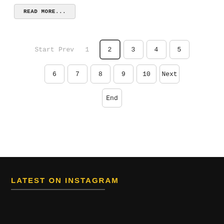READ MORE...
Start  Prev  1  2  3  4  5  6  7  8  9  10  Next  End
LATEST ON INSTAGRAM